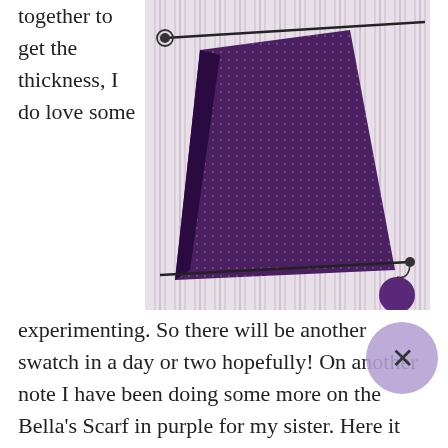together to get the thickness, I do love some experimenting. So there will be another swatch in a day or two hopefully! On another note I have been doing some more on the Bella's Scarf in purple for my sister. Here it is: [image] I think it is going quite well, I made a little mistake but I don't think it is noticeable. I have nearly used the first ball of yarn but have another so I will continue until that one is finished and see how long it is before deciding if it is done yet or not. I also got my o2 money card the other day so I can order yarn I need and hopefully get some projects finished! p.s. I gave in yesterday and bought some socks.
[Figure (photo): A partially knitted purple scarf laid flat on a striped fabric background. The knitting is on needles with yarn attached.]